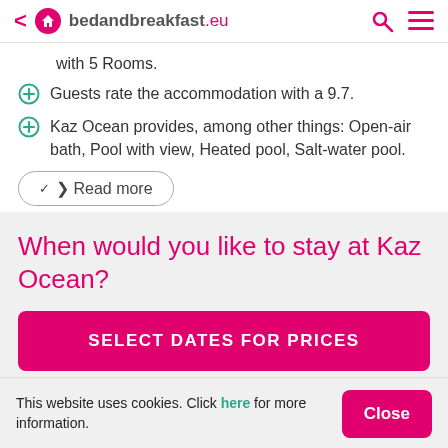bedandbreakfast.eu
with 5 Rooms.
Guests rate the accommodation with a 9.7.
Kaz Ocean provides, among other things: Open-air bath, Pool with view, Heated pool, Salt-water pool.
Read more
When would you like to stay at Kaz Ocean?
SELECT DATES FOR PRICES
This website uses cookies. Click here for more information.